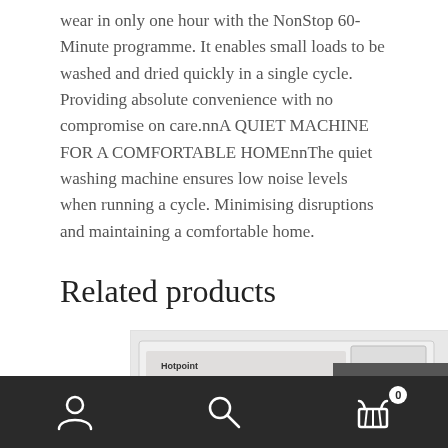wear in only one hour with the NonStop 60-Minute programme. It enables small loads to be washed and dried quickly in a single cycle. Providing absolute convenience with no compromise on care.nnA QUIET MACHINE FOR A COMFORTABLE HOMEnnThe quiet washing machine ensures low noise levels when running a cycle. Minimising disruptions and maintaining a comfortable home.
Related products
[Figure (photo): Hotpoint washing machine front panel with controls and digital display, shown in a product card with a £498.99 price badge on dark grey background]